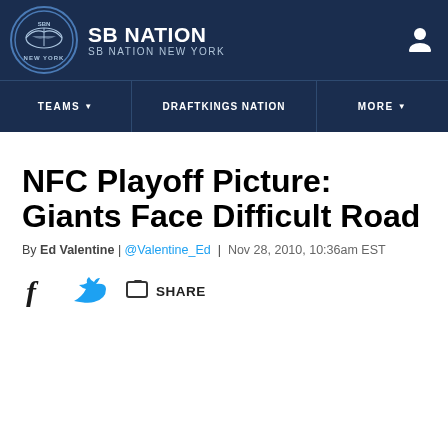SB NATION / SB NATION NEW YORK
NFC Playoff Picture: Giants Face Difficult Road
By Ed Valentine | @Valentine_Ed | Nov 28, 2010, 10:36am EST